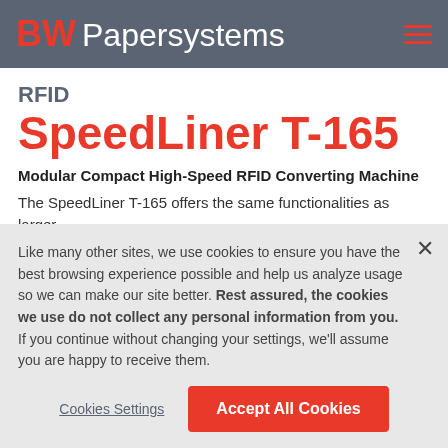BW Papersystems
RFID SpeedLiner T-165
Modular Compact High-Speed RFID Converting Machine
The SpeedLiner T-165 offers the same functionalities as larger former T-165 machines while offering a more compact
Like many other sites, we use cookies to ensure you have the best browsing experience possible and help us analyze usage so we can make our site better. Rest assured, the cookies we use do not collect any personal information from you. If you continue without changing your settings, we'll assume you are happy to receive them.
Cookies Settings | Accept All Cookies